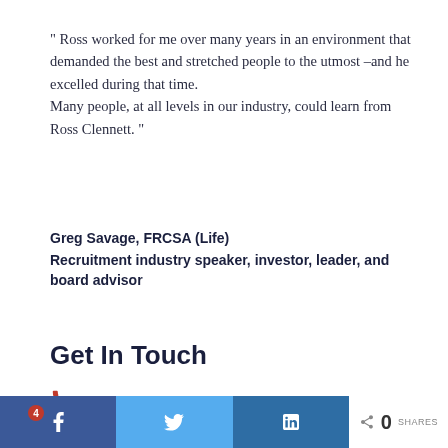" Ross worked for me over many years in an environment that demanded the best and stretched people to the utmost –and he excelled during that time. Many people, at all levels in our industry, could learn from Ross Clennett. "
Greg Savage, FRCSA (Life)
Recruitment industry speaker, investor, leader, and board advisor
Get In Touch
+61 3 5977 1577
RossClennett.com
Facebook share | Twitter share | LinkedIn share | 0 SHARES